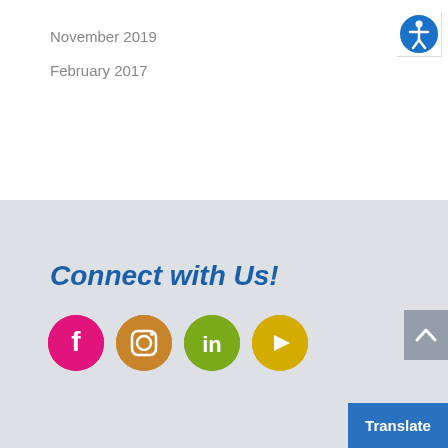November 2019
February 2017
[Figure (logo): Accessibility icon - blue circle with white human figure with arms outstretched]
Connect with Us!
[Figure (logo): Social media icons: Facebook (pink/magenta circle with F), Instagram (orange-brown circle with camera), LinkedIn (green circle with 'in'), YouTube (yellow circle with play button)]
[Figure (other): Gray scroll-to-top button with upward chevron arrow]
Translate